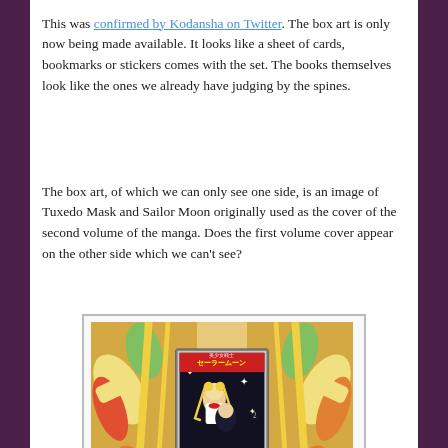This was confirmed by Kodansha on Twitter. The box art is only now being made available. It looks like a sheet of cards, bookmarks or stickers comes with the set. The books themselves look like the ones we already have judging by the spines.
The box art, of which we can only see one side, is an image of Tuxedo Mask and Sailor Moon originally used as the cover of the second volume of the manga. Does the first volume cover appear on the other side which we can't see?
[Figure (photo): A photo of a Sailor Moon manga box set showing the second volume cover featuring Tuxedo Mask and Sailor Moon, set against a colorful anime artwork background with Sailor Moon characters.]